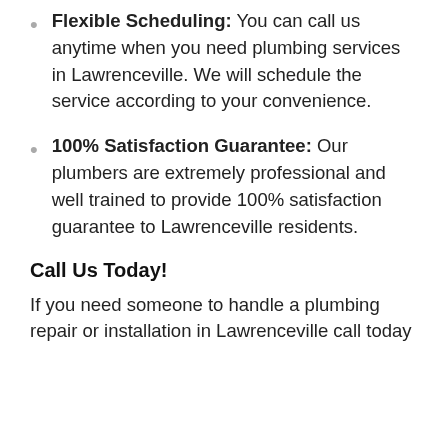Flexible Scheduling: You can call us anytime when you need plumbing services in Lawrenceville. We will schedule the service according to your convenience.
100% Satisfaction Guarantee: Our plumbers are extremely professional and well trained to provide 100% satisfaction guarantee to Lawrenceville residents.
Call Us Today!
If you need someone to handle a plumbing repair or installation in Lawrenceville call today